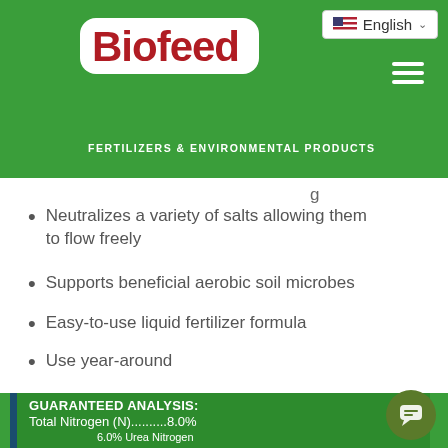[Figure (logo): Biofeed logo - red text on white rounded rectangle background, on green header bar]
FERTILIZERS & ENVIRONMENTAL PRODUCTS
Neutralizes a variety of salts allowing them to flow freely
Supports beneficial aerobic soil microbes
Easy-to-use liquid fertilizer formula
Use year-around
GUARANTEED ANALYSIS:
Total Nitrogen (N)..........8.0%
6.0% Urea Nitrogen
2.0% Other Water Soluble Nitrogen
Available Phosphate (P2O5)... 2.0%